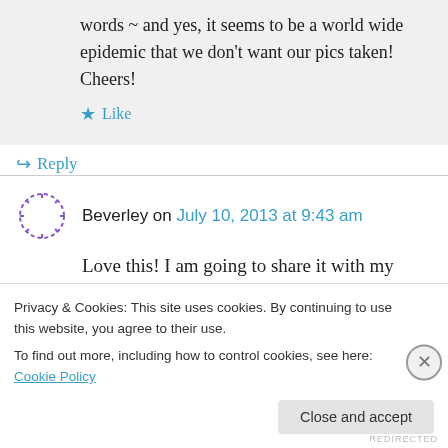words ~ and yes, it seems to be a world wide epidemic that we don't want our pics taken! Cheers!
Like
Reply
Beverley on July 10, 2013 at 9:43 am
Love this! I am going to share it with my lipstick wearing, hairspray spraying, and margarita
Privacy & Cookies: This site uses cookies. By continuing to use this website, you agree to their use. To find out more, including how to control cookies, see here: Cookie Policy
Close and accept